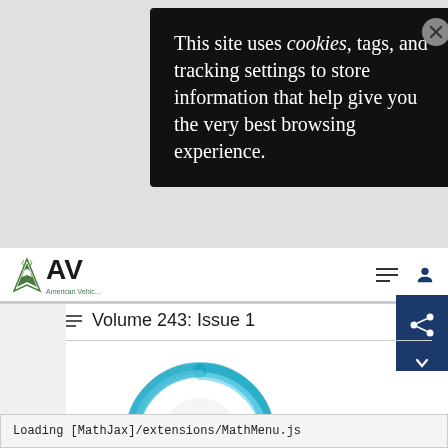[Figure (screenshot): Cookie consent popup overlay on a medical journal website (JAMA). Black rounded rectangle popup with white text reading 'This site uses cookies, tags, and tracking settings to store information that help give you the very best browsing experience.' with a circular close (X) button in the top right. Behind it: JAMA/AMA logo navbar, a share button, Volume 243: Issue 1 section header with list icon, and a teal/blue donut-style loading spinner showing the number 2.]
This site uses cookies, tags, and tracking settings to store information that help give you the very best browsing experience.
Volume 243: Issue 1
2
Loading [MathJax]/extensions/MathMenu.js